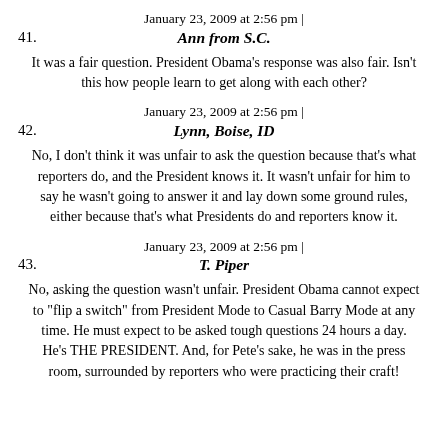January 23, 2009 at 2:56 pm |
41. Ann from S.C.
It was a fair question. President Obama's response was also fair. Isn't this how people learn to get along with each other?
January 23, 2009 at 2:56 pm |
42. Lynn, Boise, ID
No, I don't think it was unfair to ask the question because that's what reporters do, and the President knows it. It wasn't unfair for him to say he wasn't going to answer it and lay down some ground rules, either because that's what Presidents do and reporters know it.
January 23, 2009 at 2:56 pm |
43. T. Piper
No, asking the question wasn't unfair. President Obama cannot expect to "flip a switch" from President Mode to Casual Barry Mode at any time. He must expect to be asked tough questions 24 hours a day. He's THE PRESIDENT. And, for Pete's sake, he was in the press room, surrounded by reporters who were practicing their craft!